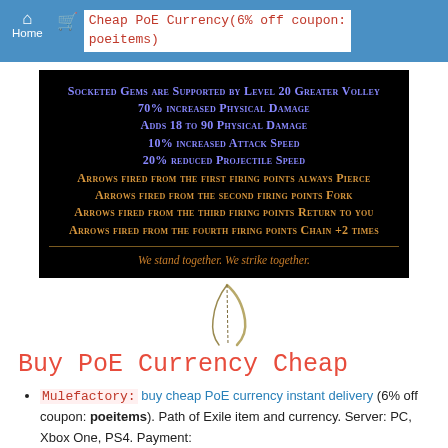Home   Cheap PoE Currency(6% off coupon: poeitems)
[Figure (screenshot): Path of Exile item tooltip on black background showing socketed gem support and weapon stats in blue and orange text, with flavor text at bottom. Below is a bow weapon image.]
Buy PoE Currency Cheap
Mulefactory: buy cheap PoE currency instant delivery (6% off coupon: poeitems). Path of Exile item and currency. Server: PC, Xbox One, PS4. Payment: